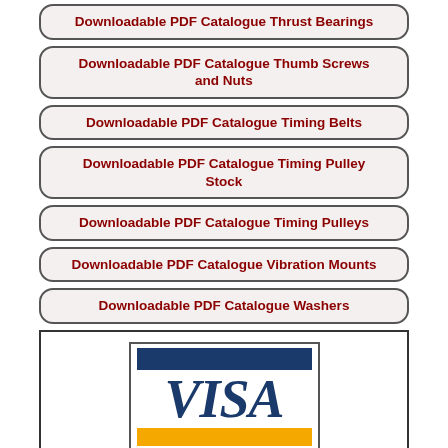Downloadable PDF Catalogue Thrust Bearings
Downloadable PDF Catalogue Thumb Screws and Nuts
Downloadable PDF Catalogue Timing Belts
Downloadable PDF Catalogue Timing Pulley Stock
Downloadable PDF Catalogue Timing Pulleys
Downloadable PDF Catalogue Vibration Mounts
Downloadable PDF Catalogue Washers
[Figure (logo): Visa logo with blue and gold bars and VISA text, followed by 'Visa Secure Checkout' link]